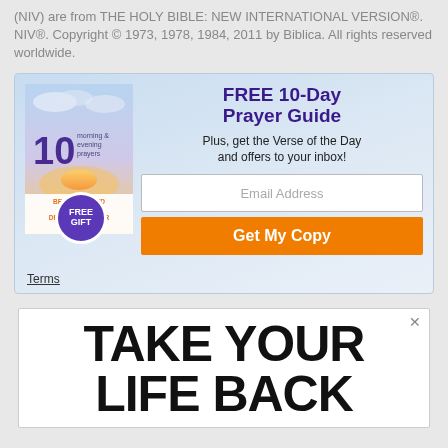(NIV) are from THE HOLY BIBLE: NEW INTERNATIONAL VERSION®. NIV®. Copyright © 1973, 1978, 1984, 2011 by Biblica. All rights reserved worldwide.
[Figure (infographic): Advertisement banner for FREE 10-Day Prayer Guide. Shows a book cover with '10 morning & evening prayers', text 'BEGIN AND END EACH DAY BY DRAWING CLOSER TO GOD', a purple circle with 'FREE GIFT'. Right side has title 'FREE 10-Day Prayer Guide', subtitle 'Plus, get the Verse of the Day and offers to your inbox!', an email input field, and an orange 'Get My Copy' button. A 'Terms' link is at the bottom.]
[Figure (infographic): Advertisement banner showing large bold text 'TAKE YOUR LIFE BACK' with a close (X) button in top right corner.]